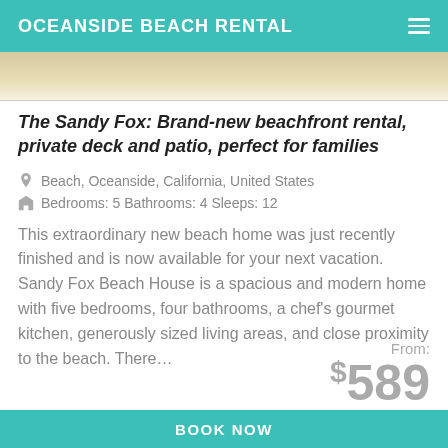OCEANSIDE BEACH RENTAL
[Figure (photo): Partial view of a beach house interior/exterior image strip]
The Sandy Fox: Brand-new beachfront rental, private deck and patio, perfect for families
Beach, Oceanside, California, United States
Bedrooms: 5 Bathrooms: 4 Sleeps: 12
This extraordinary new beach home was just recently finished and is now available for your next vacation. Sandy Fox Beach House is a spacious and modern home with five bedrooms, four bathrooms, a chef's gourmet kitchen, generously sized living areas, and close proximity to the beach. There…
From: $589
BOOK NOW